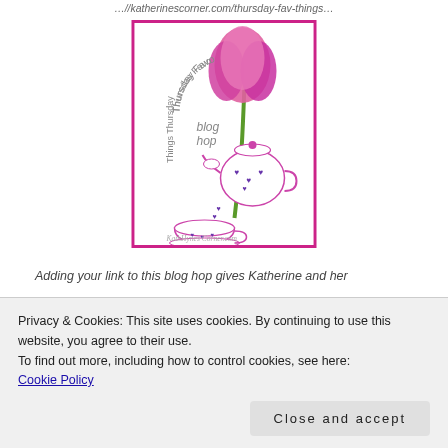…//katherinescorner.com/thursday-fav-things…
[Figure (illustration): Thursday Favorite Things Blog Hop badge — pink/purple tulip flower with a teapot and teacup pouring hearts, text reading 'Thursday Favorite Things blog hop Things Thursday' arranged in a circular pattern, watermark 'KathHynes Corner.com', framed in magenta border]
Adding your link to this blog hop gives Katherine and her
Privacy & Cookies: This site uses cookies. By continuing to use this website, you agree to their use.
To find out more, including how to control cookies, see here:
Cookie Policy
Close and accept